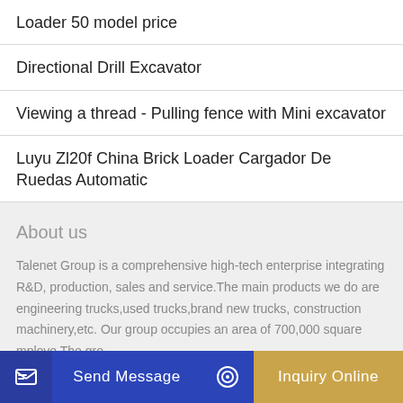Loader 50 model price
Directional Drill Excavator
Viewing a thread - Pulling fence with Mini excavator
Luyu Zl20f China Brick Loader Cargador De Ruedas Automatic
About us
Talenet Group is a comprehensive high-tech enterprise integrating R&D, production, sales and service.The main products we do are engineering trucks,used trucks,brand new trucks, construction machinery,etc. Our group occupies an area of 700,000 square mploye The gro